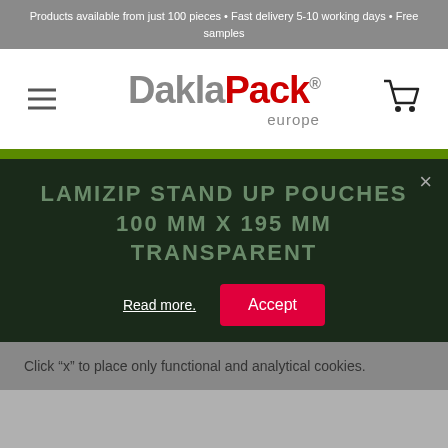Products available from just 100 pieces • Fast delivery 5-10 working days • Free samples
[Figure (logo): DaklaPack europe logo with hamburger menu and cart icon]
[Figure (screenshot): Cookie consent popup with title 'LAMIZIP STAND UP POUCHES 100 MM X 195 MM TRANSPARENT', a close button, Read more link, and Accept button]
Click "x" to place only functional and analytical cookies.